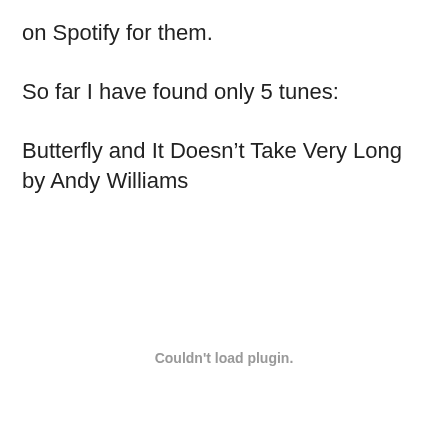on Spotify for them.
So far I have found only 5 tunes:
Butterfly and It Doesn’t Take Very Long by Andy Williams
Couldn't load plugin.